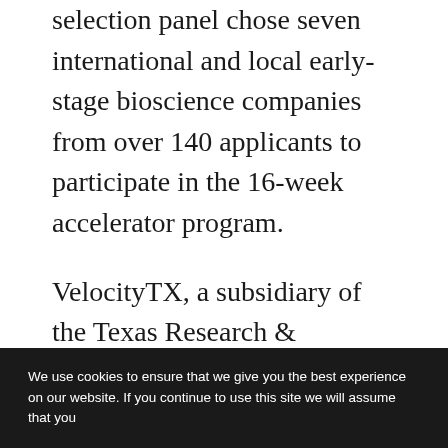selection panel chose seven international and local early-stage bioscience companies from over 140 applicants to participate in the 16-week accelerator program.
VelocityTX, a subsidiary of the Texas Research & Technology Foundation (TRTF), strives to support the development of early-stage life science and technology companies in San Antonio. The new BioGlobal Accelerator
We use cookies to ensure that we give you the best experience on our website. If you continue to use this site we will assume that you